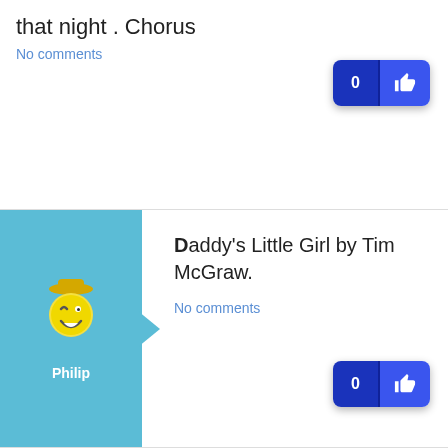that night . Chorus
No comments
Daddy's Little Girl by Tim McGraw.
No comments
led zeplin stairway to heaven
No comments